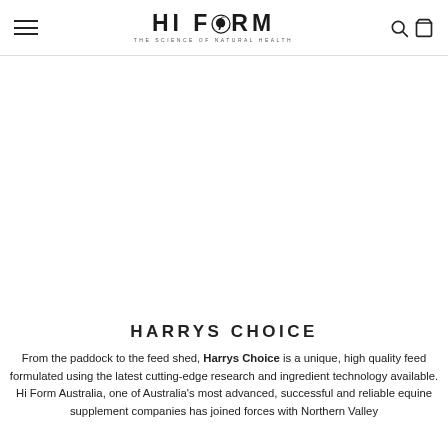HI FORM — THE SCIENCE OF NATURAL HEALTH (navigation header with hamburger menu, logo, search and cart icons)
HARRYS CHOICE
From the paddock to the feed shed, Harrys Choice is a unique, high quality feed formulated using the latest cutting-edge research and ingredient technology available. Hi Form Australia, one of Australia's most advanced, successful and reliable equine supplement companies has joined forces with Northern Valley